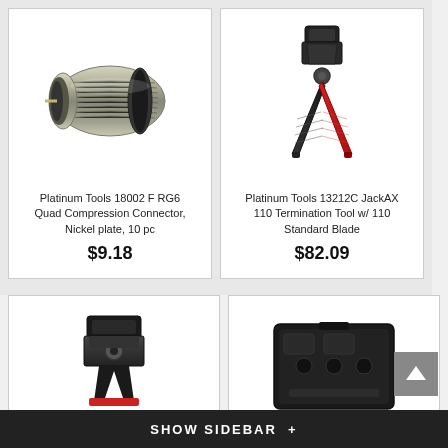[Figure (photo): Platinum Tools 18002 F RG6 Quad Compression Connector, nickel plated metallic cylindrical connector]
Platinum Tools 18002 F RG6 Quad Compression Connector, Nickel plate, 10 pc
$9.18
[Figure (photo): Platinum Tools 13212C JackAX 110 Termination Tool with 110 Standard Blade, black and red wire stripper/punch down tool]
Platinum Tools 13212C JackAX 110 Termination Tool w/ 110 Standard Blade
$82.09
[Figure (photo): Partial view of a black termination/punch down tool head]
[Figure (photo): Partial view of a black rectangular device/equipment]
SHOW SIDEBAR +